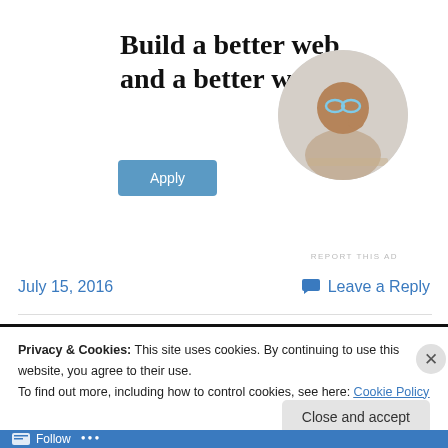[Figure (illustration): Advertisement banner with bold text 'Build a better web and a better world.' with a blue 'Apply' button and a circular photo of a man thinking]
REPORT THIS AD
July 15, 2016
Leave a Reply
Privacy & Cookies: This site uses cookies. By continuing to use this website, you agree to their use.
To find out more, including how to control cookies, see here: Cookie Policy